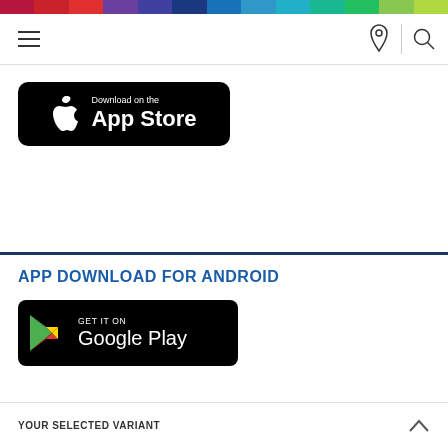[Figure (screenshot): Colorful rainbow navigation bar at top of page with multiple color segments]
[Figure (screenshot): Navigation bar with hamburger menu icon on left, location pin icon and search icon on right]
[Figure (logo): Download on the App Store button - black rounded rectangle with Apple logo and text]
[Figure (other): Horizontal dark navy blue divider line]
APP DOWNLOAD FOR ANDROID
[Figure (logo): GET IT ON Google Play button - black rounded rectangle with Google Play triangle logo and text]
YOUR SELECTED VARIANT